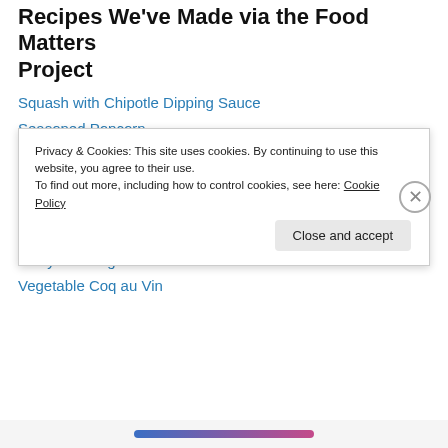Recipes We've Made via the Food Matters Project
Squash with Chipotle Dipping Sauce
Seasoned Popcorn
Roasted Red Pepper Pesto
Rigatoni with Vegetables, Figs and Blue Cheese
Seared Bean Sprouts with Mushrooms
Hummus
Curry with Vegetables
Vegetable Coq au Vin
Privacy & Cookies: This site uses cookies. By continuing to use this website, you agree to their use.
To find out more, including how to control cookies, see here: Cookie Policy
Close and accept